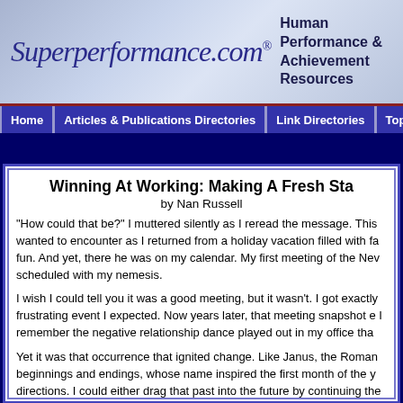Superperformance.com® Human Performance & Achievement Resources
Home | Articles & Publications Directories | Link Directories | Topics Directory
Winning At Working: Making A Fresh Start
by Nan Russell
"How could that be?" I muttered silently as I reread the message. This wanted to encounter as I returned from a holiday vacation filled with fa fun. And yet, there he was on my calendar. My first meeting of the Nev scheduled with my nemesis.
I wish I could tell you it was a good meeting, but it wasn't. I got exactly frustrating event I expected. Now years later, that meeting snapshot e I remember the negative relationship dance played out in my office tha
Yet it was that occurrence that ignited change. Like Janus, the Roman beginnings and endings, whose name inspired the first month of the y directions. I could either drag that past into the future by continuing the escalation of this important work relationship, or I could leave it behind psychological fresh start. I chose the latter. What changed that day wa doorway I wanted to go through. I realized that every time I dealt with he brought out my less than positive side. In effect, I had relinquished control my reactions. But with one simple thought I took it back.
I decided that every time I saw him in the hallway, or at a meeting, or b